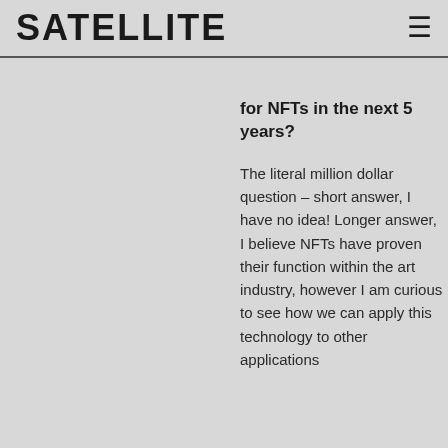SATELLITE
for NFTs in the next 5 years?
The literal million dollar question – short answer, I have no idea! Longer answer, I believe NFTs have proven their function within the art industry, however I am curious to see how we can apply this technology to other applications